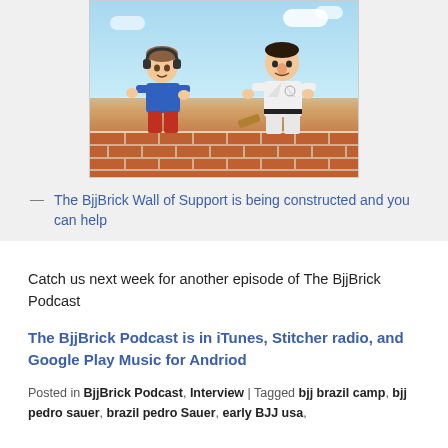[Figure (illustration): Cartoon illustration of two caricatured figures building a brick wall together. One figure on the left wears a blue t-shirt and red pants; one on the right wears a white martial arts gi with a black belt. Sky and clouds in the background.]
— The BjjBrick Wall of Support is being constructed and you can help
Catch us next week for another episode of The BjjBrick Podcast
The BjjBrick Podcast is in iTunes, Stitcher radio, and Google Play Music for Andriod
Posted in BjjBrick Podcast, Interview | Tagged bjj brazil camp, bjj pedro sauer, brazil pedro Sauer, early BJJ usa,